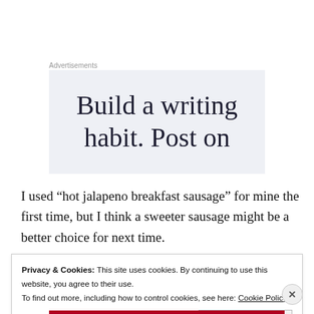Advertisements
[Figure (illustration): Advertisement banner with text 'Build a writing habit. Post on' in large serif font on a light blue-grey background]
I used “hot jalapeno breakfast sausage” for mine the first time, but I think a sweeter sausage might be a better choice for next time.
Privacy & Cookies: This site uses cookies. By continuing to use this website, you agree to their use.
To find out more, including how to control cookies, see here: Cookie Policy
Close and accept